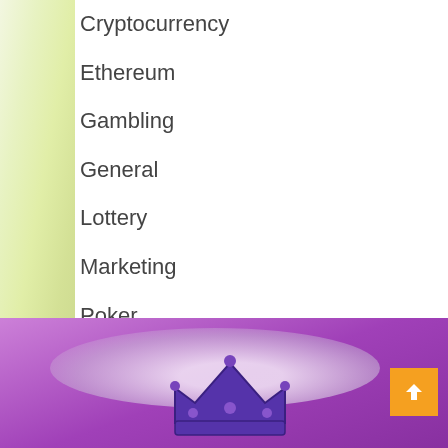Cryptocurrency
Ethereum
Gambling
General
Lottery
Marketing
Poker
slot
Virtual Money
[Figure (photo): Purple banner at the bottom with a white cloud and a purple crown icon in the center, and an orange scroll-to-top arrow button at the bottom right]